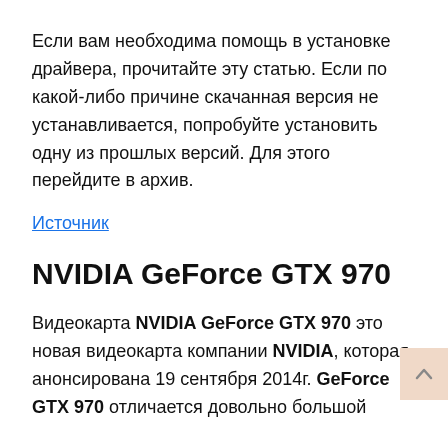Если вам необходима помощь в установке драйвера, прочитайте эту статью. Если по какой-либо причине скачанная версия не устанавливается, попробуйте установить одну из прошлых версий. Для этого перейдите в архив.
Источник
NVIDIA GeForce GTX 970
Видеокарта NVIDIA GeForce GTX 970 это новая видеокарта компании NVIDIA, которая анонсирована 19 сентября 2014г. GeForce GTX 970 отличается довольно большой